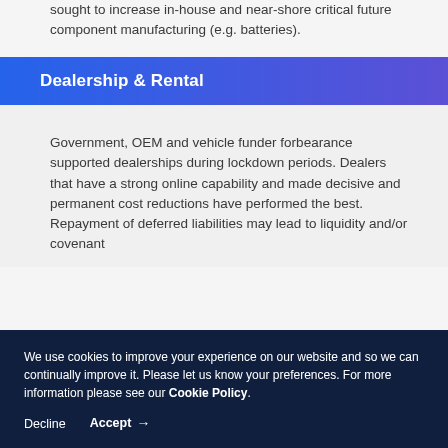sought to increase in-house and near-shore critical future component manufacturing (e.g. batteries).
Dealership & Rental
Government, OEM and vehicle funder forbearance supported dealerships during lockdown periods. Dealers that have a strong online capability and made decisive and permanent cost reductions have performed the best. Repayment of deferred liabilities may lead to liquidity and/or covenant
We use cookies to improve your experience on our website and so we can continually improve it. Please let us know your preferences. For more information please see our Cookie Policy.
Decline
Accept →